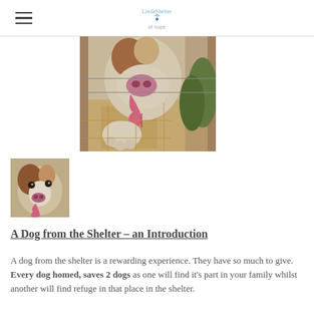Linda Shelter of Hope
[Figure (photo): A dog pressing its nose and paw through a fence, tongue out, at a shelter. Sandy ground and greenery visible in background.]
[Figure (photo): Small thumbnail photo of a brown and white dog looking at camera with tongue out.]
A Dog from the Shelter – an Introduction
A dog from the shelter is a rewarding experience. They have so much to give. Every dog homed, saves 2 dogs as one will find it's part in your family whilst another will find refuge in that place in the shelter.